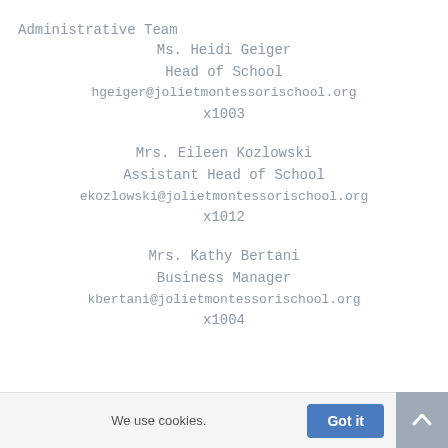Administrative Team
Ms. Heidi Geiger
Head of School
hgeiger@jolietmontessorischool.org
x1003
Mrs. Eileen Kozlowski
Assistant Head of School
ekozlowski@jolietmontessorischool.org
x1012
Mrs. Kathy Bertani
Business Manager
kbertani@jolietmontessorischool.org
x1004
We use cookies. Got it